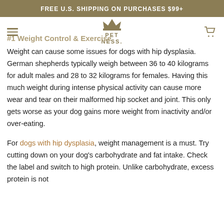FREE U.S. SHIPPING ON PURCHASES $99+
#1 Weight Control & Exercise
Weight can cause some issues for dogs with hip dysplasia. German shepherds typically weigh between 36 to 40 kilograms for adult males and 28 to 32 kilograms for females. Having this much weight during intense physical activity can cause more wear and tear on their malformed hip socket and joint. This only gets worse as your dog gains more weight from inactivity and/or over-eating.
For dogs with hip dysplasia, weight management is a must. Try cutting down on your dog's carbohydrate and fat intake. Check the label and switch to high protein. Unlike carbohydrate, excess protein is not